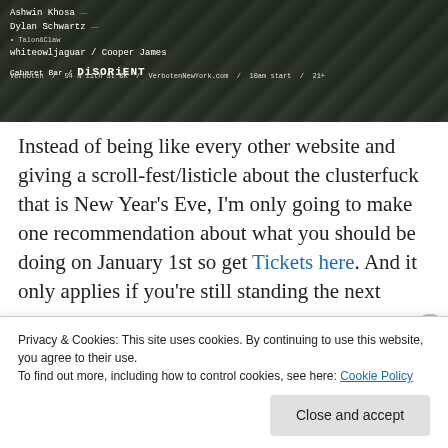[Figure (screenshot): Dark event poster screenshot showing names: Ashwin Khosa, Dylan Schwartz, Talon&Claw, whiteowljaguar / Cooper James, Cabaret Bar / DISORIENT, Verboten / 54 N 11th St BK / VerbotenNewYork.com / 10am start / 21+]
Instead of being like every other website and giving a scroll-fest/listicle about the clusterfuck that is New Year's Eve, I'm only going to make one recommendation about what you should be doing on January 1st so get Tickets here. And it only applies if you're still standing the next
Privacy & Cookies: This site uses cookies. By continuing to use this website, you agree to their use.
To find out more, including how to control cookies, see here: Cookie Policy
Close and accept